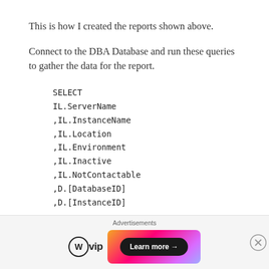This is how I created the reports shown above.
Connect to the DBA Database and run these queries to gather the data for the report.